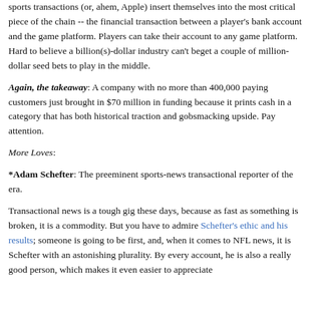sports transactions (or, ahem, Apple) insert themselves into the most critical piece of the chain -- the financial transaction between a player's bank account and the game platform. Players can take their account to any game platform. Hard to believe a billion(s)-dollar industry can't beget a couple of million-dollar seed bets to play in the middle.
Again, the takeaway: A company with no more than 400,000 paying customers just brought in $70 million in funding because it prints cash in a category that has both historical traction and gobsmacking upside. Pay attention.
More Loves:
*Adam Schefter: The preeminent sports-news transactional reporter of the era.
Transactional news is a tough gig these days, because as fast as something is broken, it is a commodity. But you have to admire Schefter's ethic and his results; someone is going to be first, and, when it comes to NFL news, it is Schefter with an astonishing plurality. By every account, he is also a really good person, which makes it even easier to appreciate